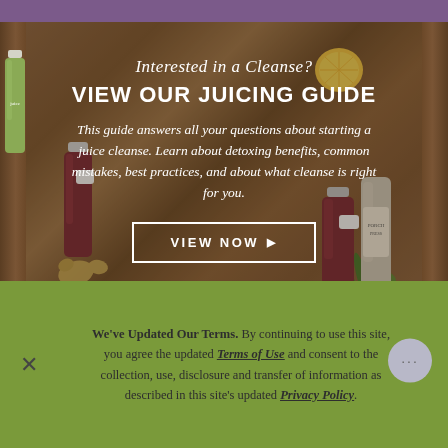[Figure (photo): Background photo of a wooden cutting board with juice bottles, lemon halves, ginger, parsley/herbs, and health juice products arranged on it]
Interested in a Cleanse?
VIEW OUR JUICING GUIDE
This guide answers all your questions about starting a juice cleanse. Learn about detoxing benefits, common mistakes, best practices, and about what cleanse is right for you.
VIEW NOW ▶
We've Updated Our Terms. By continuing to use this site, you agree the updated Terms of Use and consent to the collection, use, disclosure and transfer of information as described in this site's updated Privacy Policy.